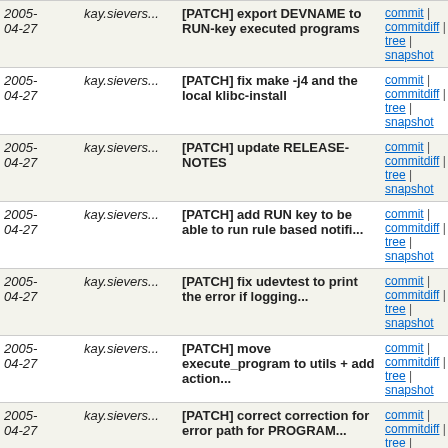| Date | Author | Description | Links |
| --- | --- | --- | --- |
| 2005-04-27 | kay.sievers... | [PATCH] export DEVNAME to RUN-key executed programs | commit | commitdiff | tree | snapshot |
| 2005-04-27 | kay.sievers... | [PATCH] fix make -j4 and the local klibc-install | commit | commitdiff | tree | snapshot |
| 2005-04-27 | kay.sievers... | [PATCH] update RELEASE-NOTES | commit | commitdiff | tree | snapshot |
| 2005-04-27 | kay.sievers... | [PATCH] add RUN key to be able to run rule based notifi... | commit | commitdiff | tree | snapshot |
| 2005-04-27 | kay.sievers... | [PATCH] fix udevtest to print the error if logging... | commit | commitdiff | tree | snapshot |
| 2005-04-27 | kay.sievers... | [PATCH] move execute_program to utils + add action... | commit | commitdiff | tree | snapshot |
| 2005-04-27 | kay.sievers... | [PATCH] correct correction for error path for PROGRAM... | commit | commitdiff | tree | snapshot |
| 2005-04-27 | kay.sievers... | [PATCH] correct error path for PROGRAM execution | commit | commitdiff | tree | snapshot |
| 2005-04-27 | kay.sievers... | [PATCH] klibc: version 1.0.5 | commit | commitdiff | tree | snapshot |
| 2005-... | kay.sievers... | [PATCH] check for... | commit |